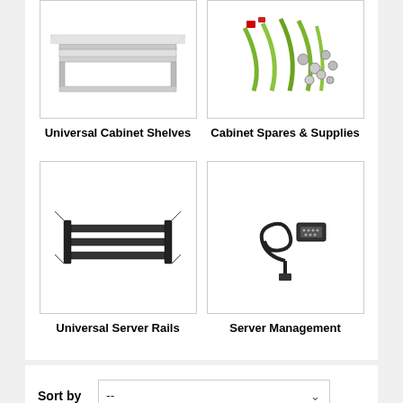[Figure (photo): Product image of Universal Cabinet Shelves - a grey metal shelf rack unit]
Universal Cabinet Shelves
[Figure (photo): Product image of Cabinet Spares & Supplies - green cables and metal nuts/bolts]
Cabinet Spares & Supplies
[Figure (photo): Product image of Universal Server Rails - black metal rack rails]
Universal Server Rails
[Figure (photo): Product image of Server Management - a black cable/connector]
Server Management
Sort by
--
Show
12
per page